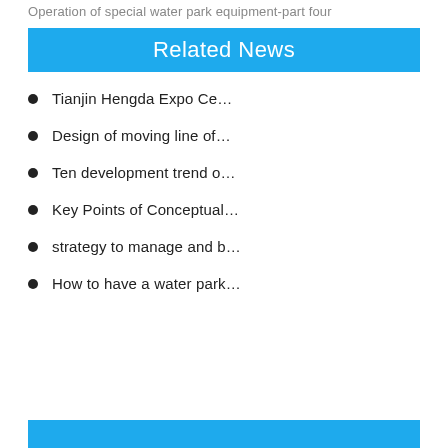Operation of special water park equipment-part four
Related News
Tianjin Hengda Expo Ce…
Design of moving line of…
Ten development trend o…
Key Points of Conceptual…
strategy to manage and b…
How to have a water park…